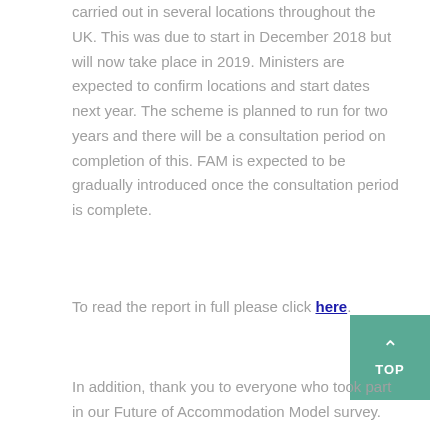carried out in several locations throughout the UK. This was due to start in December 2018 but will now take place in 2019. Ministers are expected to confirm locations and start dates next year. The scheme is planned to run for two years and there will be a consultation period on completion of this. FAM is expected to be gradually introduced once the consultation period is complete.
To read the report in full please click here.
In addition, thank you to everyone who took part in our Future of Accommodation Model survey.